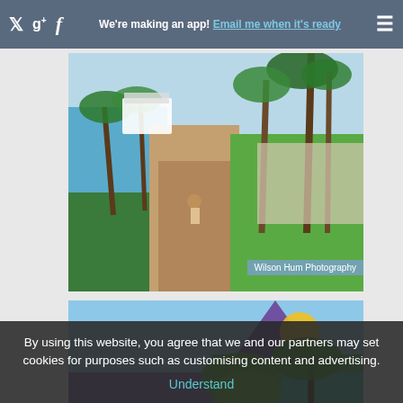We're making an app! Email me when it's ready
[Figure (photo): Waterfront promenade with palm trees, brick pathway, cruise ship in background, turquoise sea on left. Photo credit: Wilson Hum Photography]
[Figure (photo): Colorful shopping street with purple and green storefronts, 'Jas' store visible, palm trees, pedestrians walking]
By using this website, you agree that we and our partners may set cookies for purposes such as customising content and advertising. Understand